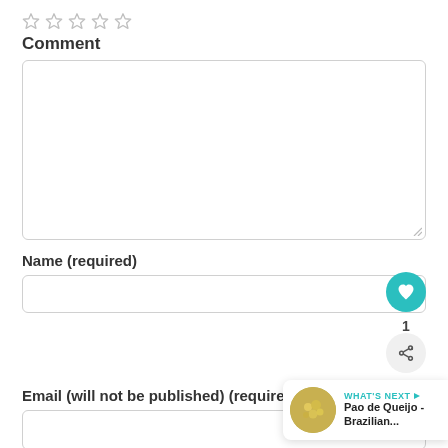[Figure (other): Five empty star rating icons in a row]
Comment
[Figure (other): Empty comment textarea input box with resize handle]
Name (required)
[Figure (other): Name text input field with teal heart/favorite button overlay showing count 1 and share button]
Email (will not be published) (required)
[Figure (other): Email text input field]
Website
[Figure (other): Website text input field (partially visible)]
[Figure (other): What's Next panel showing Pao de Queijo - Brazilian... with food image]